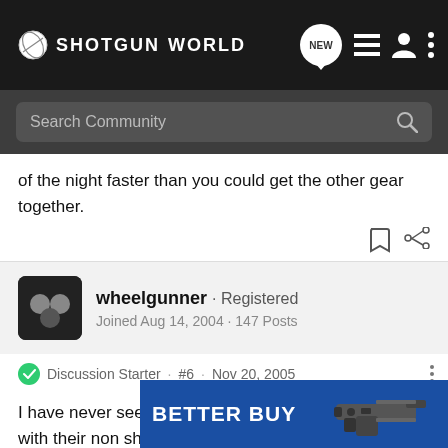SHOTGUN WORLD
of the night faster than you could get the other gear together.
wheelgunner · Registered
Joined Aug 14, 2004 · 147 Posts
Discussion Starter · #6 · Nov 20, 2005
I have never seen anyone load their pump shotgun with their non shooting hand.

My shotgun gets pretty popular because with the rest of the weapon...
[Figure (illustration): Advertisement banner reading BETTER BUY with an image of a handgun/pistol with accessories]